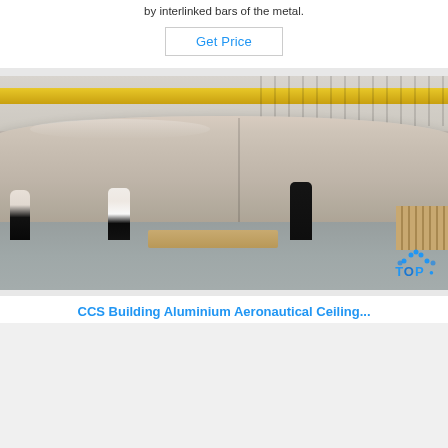by interlinked bars of the metal.
Get Price
[Figure (photo): Large industrial cylindrical metal tank/vessel in a factory setting. Workers in white and dark uniforms stand next to it for scale. Yellow overhead crane visible in background. TOP logo watermark in bottom right corner.]
CCS Building Aluminium Aeronautical Ceiling...